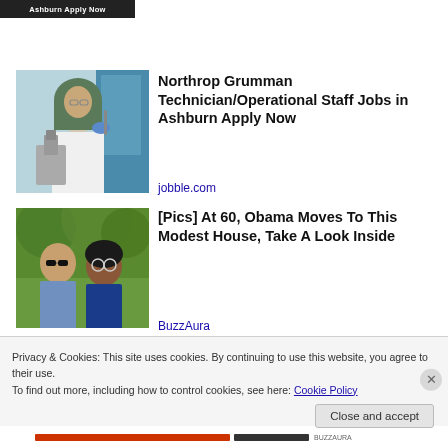[Figure (screenshot): Partial banner: 'Ashburn Apply Now' button on dark background]
[Figure (photo): Person in hijab working with laboratory microscope]
Northrop Grumman Technician/Operational Staff Jobs in Ashburn Apply Now
jobble.com
[Figure (photo): Two people posing outdoors in front of green foliage]
[Pics] At 60, Obama Moves To This Modest House, Take A Look Inside
BuzzAura
Privacy & Cookies: This site uses cookies. By continuing to use this website, you agree to their use.
To find out more, including how to control cookies, see here: Cookie Policy
Close and accept